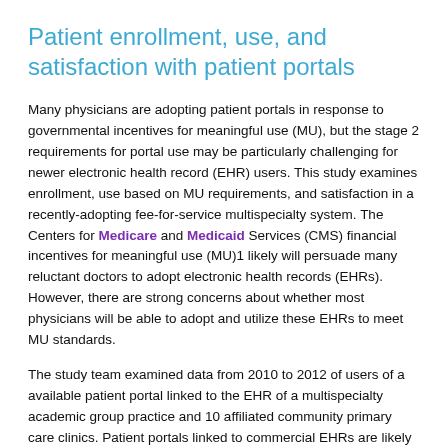Patient enrollment, use, and satisfaction with patient portals
Many physicians are adopting patient portals in response to governmental incentives for meaningful use (MU), but the stage 2 requirements for portal use may be particularly challenging for newer electronic health record (EHR) users. This study examines enrollment, use based on MU requirements, and satisfaction in a recently-adopting fee-for-service multispecialty system. The Centers for Medicare and Medicaid Services (CMS) financial incentives for meaningful use (MU)1 likely will persuade many reluctant doctors to adopt electronic health records (EHRs). However, there are strong concerns about whether most physicians will be able to adopt and utilize these EHRs to meet MU standards.
The study team examined data from 2010 to 2012 of users of a available patient portal linked to the EHR of a multispecialty academic group practice and 10 affiliated community primary care clinics. Patient portals linked to commercial EHRs are likely to offer the most commercially practical way for new EHR users to meet